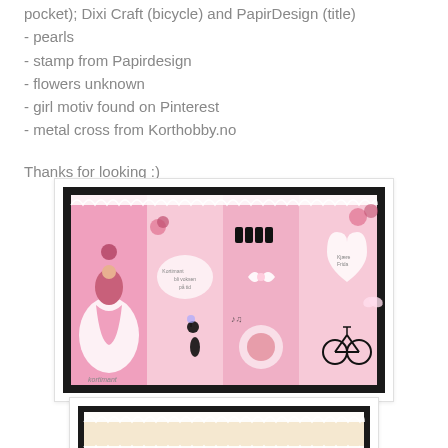pocket); Dixi Craft (bicycle) and PapirDesign (title)
- pearls
- stamp from Papirdesign
- flowers unknown
- girl motiv found on Pinterest
- metal cross from Korthobby.no
Thanks for looking :)
[Figure (photo): Handmade craft card featuring pink panels with girl silhouettes, flowers, bicycle image, doily details, music notes, and text 'kortimant']
[Figure (photo): Partial view of another handmade card showing lace border detail at top]